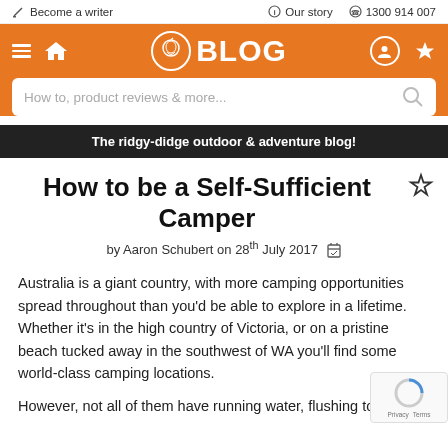Become a writer | Our story | 1300 914 007
[Figure (screenshot): Orange navigation bar with hamburger menu, home icon, BLOG logo with illustrated face, user account icon, and star/favorites icon]
[Figure (screenshot): Search bar with placeholder text 'How to, product reviews & more...' and search icon]
The ridgy-didge outdoor & adventure blog!
How to be a Self-Sufficient Camper
by Aaron Schubert on 28th July 2017
Australia is a giant country, with more camping opportunities spread throughout than you'd be able to explore in a lifetime. Whether it's in the high country of Victoria, or on a pristine beach tucked away in the southwest of WA you'll find some world-class camping locations.
However, not all of them have running water, flushing toilets and